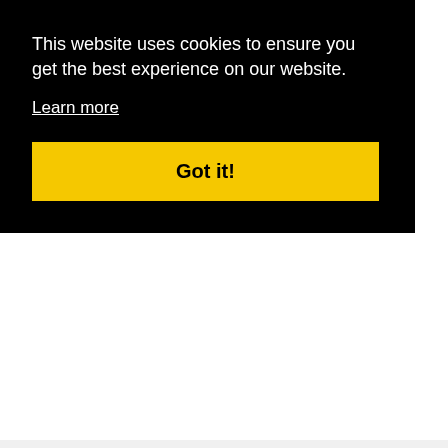This website uses cookies to ensure you get the best experience on our website.
Learn more
Got it!
[Figure (logo): Glukhiv.net logo with red circle dot and hamburger menu icon]
[Figure (screenshot): Gray content area with close X button]
Search for
01. Top Fleet Maintenance Softwares
02. Mobile Phone Service Provider Near
Yahoo! Search | Sponsored